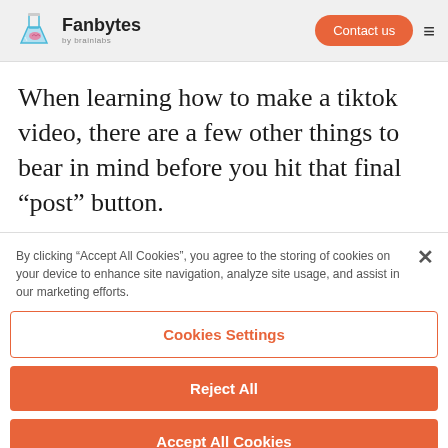Fanbytes by brainlabs — Contact us
When learning how to make a tiktok video, there are a few other things to bear in mind before you hit that final “post” button.
By clicking “Accept All Cookies”, you agree to the storing of cookies on your device to enhance site navigation, analyze site usage, and assist in our marketing efforts.
Cookies Settings
Reject All
Accept All Cookies